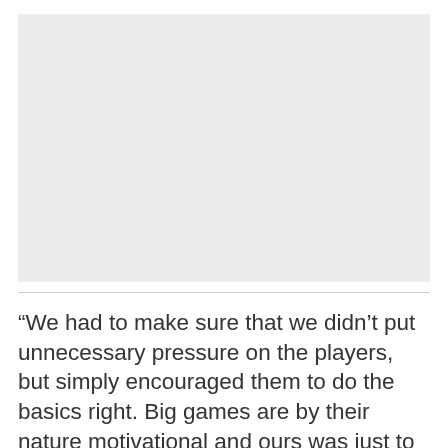[Figure (photo): Empty light gray rectangular image placeholder area]
“We had to make sure that we didn’t put unnecessary pressure on the players, but simply encouraged them to do the basics right. Big games are by their nature motivational and ours was just to make sure